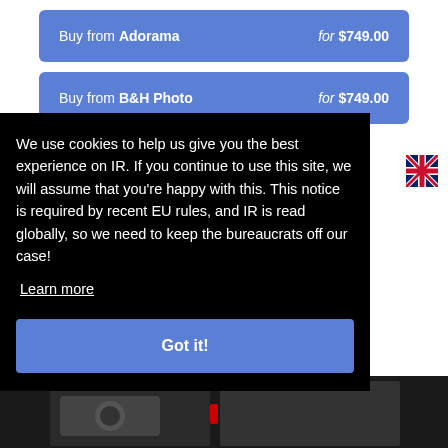Buy from Adorama for $749.00
Buy from B&H Photo for $749.00
All G7X Mark III Deals
We use cookies to help us give you the best experience on IR. If you continue to use this site, we will assume that you're happy with this. This notice is required by recent EU rules, and IR is read globally, so we need to keep the bureaucrats off our case!
Learn more
Got it!